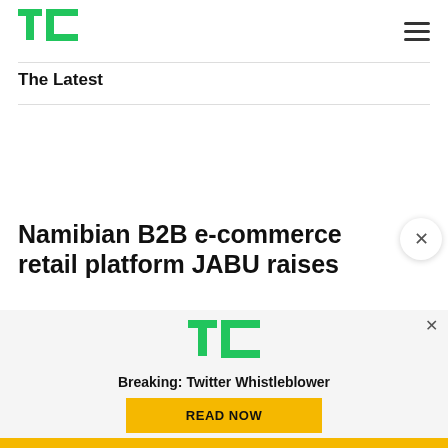TechCrunch logo and navigation menu
The Latest
Namibian B2B e-commerce retail platform JABU raises
[Figure (infographic): TechCrunch overlay notification panel with TC logo, 'Breaking: Twitter Whistleblower' text, and yellow READ NOW button]
Yellow footer bar